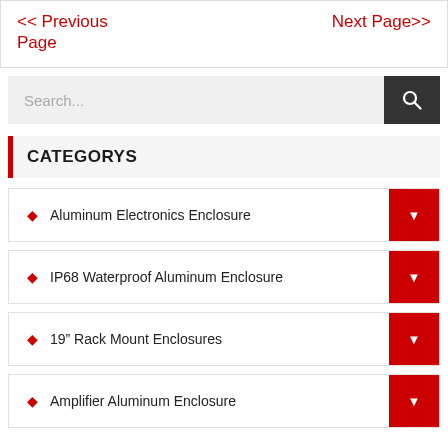<< Previous Page    Next Page>>
Search...
CATEGORYS
Aluminum Electronics Enclosure
IP68 Waterproof Aluminum Enclosure
19” Rack Mount Enclosures
Amplifier Aluminum Enclosure